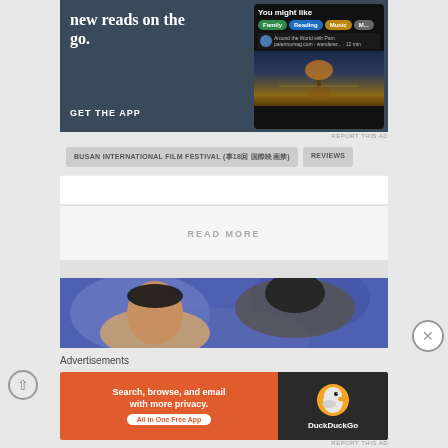[Figure (screenshot): App advertisement banner showing 'new reads on the go. GET THE APP' with dark background and phone UI on right]
REPORT THIS AD
BUSAN INTERNATIONAL FILM FESTIVAL (제18회 부산국제영화제)
REVIEWS
READ MORE
[Figure (photo): Two people facing each other against a blue/purple bokeh background]
Advertisements
[Figure (screenshot): DuckDuckGo advertisement: 'Search, browse, and email with more privacy. All in One Free App' with orange background and duck logo on dark right panel]
REPORT THIS AD